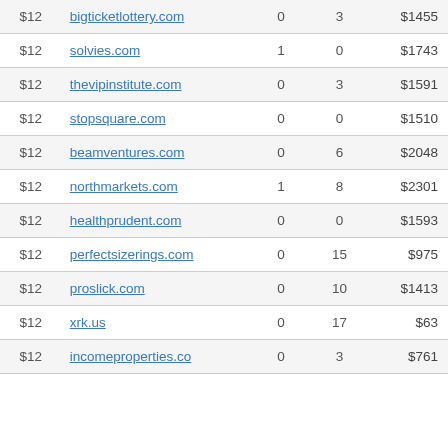| Price | Domain | Col3 | Col4 | Value |
| --- | --- | --- | --- | --- |
| $12 | bigticketlottery.com | 0 | 3 | $1455 |
| $12 | solvies.com | 1 | 0 | $1743 |
| $12 | thevipinstitute.com | 0 | 3 | $1591 |
| $12 | stopsquare.com | 0 | 0 | $1510 |
| $12 | beamventures.com | 0 | 6 | $2048 |
| $12 | northmarkets.com | 1 | 8 | $2301 |
| $12 | healthprudent.com | 0 | 0 | $1593 |
| $12 | perfectsizerings.com | 0 | 15 | $975 |
| $12 | proslick.com | 0 | 10 | $1413 |
| $12 | xrk.us | 0 | 17 | $63 |
| $12 | incomeproperties.co | 0 | 3 | $761 |